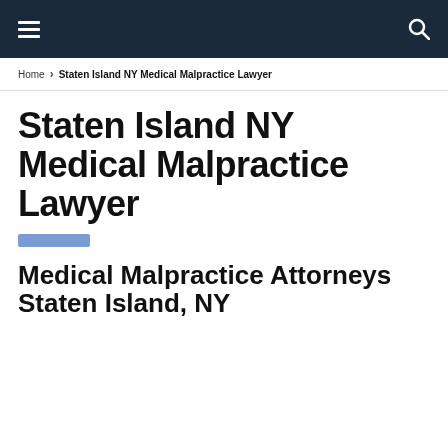Navigation bar with hamburger menu and search icon
Home > Staten Island NY Medical Malpractice Lawyer
Staten Island NY Medical Malpractice Lawyer
Medical Malpractice Attorneys Staten Island, NY